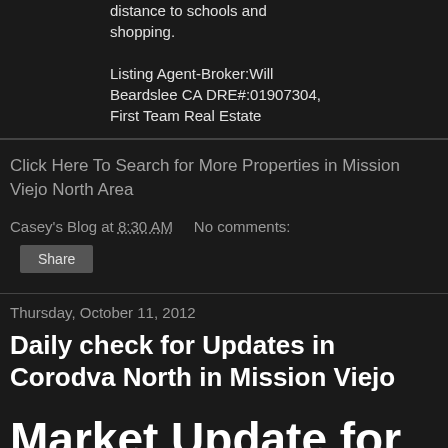distance to schools and shopping.
Listing Agent-Broker:Will Beardslee CA DRE#:01907304, First Team Real Estate
Click Here To Search for More Properties in Mission Viejo North Area
Casey's Blog at 8:30 AM    No comments:
Share
Thursday, October 11, 2012
Daily check for Updates in Corodva North in Mission Viejo
Market Update for Cordova North Mission Viejo